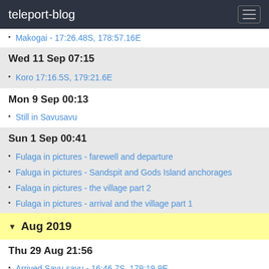teleport-blog
Makogai - 17:26.48S, 178:57.16E
Wed 11 Sep 07:15
Koro 17:16.5S, 179:21.6E
Mon 9 Sep 00:13
Still in Savusavu
Sun 1 Sep 00:41
Fulaga in pictures - farewell and departure
Faluga in pictures - Sandspit and Gods Island anchorages
Falaga in pictures - the village part 2
Fulaga in pictures - arrival and the village part 1
Aug 2019
Thu 29 Aug 21:56
Arrived Savu savu - 16:46.7S, 179:19.9E
Tue 27 Aug 22:25
departing Fulaga
Yanuy Anukalou (Gods Island), Fulaga, 19:08S, 178:34.4W